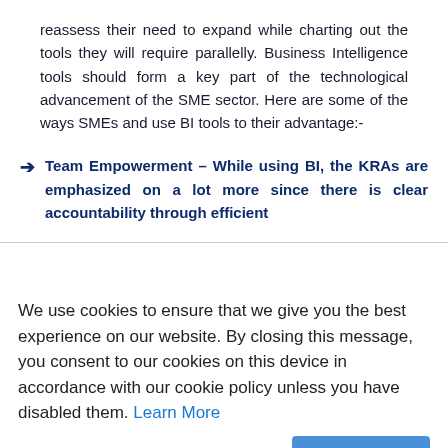reassess their need to expand while charting out the tools they will require parallelly. Business Intelligence tools should form a key part of the technological advancement of the SME sector. Here are some of the ways SMEs and use BI tools to their advantage:-
Team Empowerment – While using BI, the KRAs are emphasized on a lot more since there is clear accountability through efficient
We use cookies to ensure that we give you the best experience on our website. By closing this message, you consent to our cookies on this device in accordance with our cookie policy unless you have disabled them. Learn More